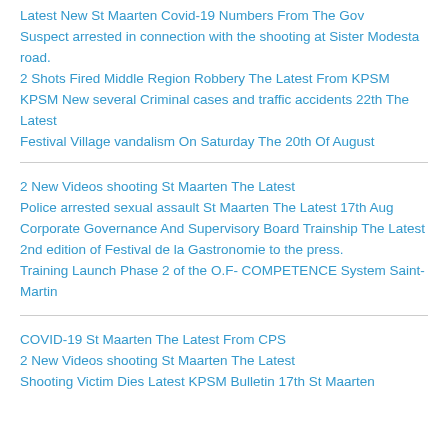Latest New St Maarten Covid-19 Numbers From The Gov
Suspect arrested in connection with the shooting at Sister Modesta road.
2 Shots Fired Middle Region Robbery The Latest From KPSM
KPSM New several Criminal cases and traffic accidents 22th The Latest
Festival Village vandalism On Saturday The 20th Of August
2 New Videos shooting St Maarten The Latest
Police arrested sexual assault St Maarten The Latest 17th Aug
Corporate Governance And Supervisory Board Trainship The Latest
2nd edition of Festival de la Gastronomie to the press.
Training Launch Phase 2 of the O.F- COMPETENCE System Saint-Martin
COVID-19 St Maarten The Latest From CPS
2 New Videos shooting St Maarten The Latest
Shooting Victim Dies Latest KPSM Bulletin 17th St Maarten